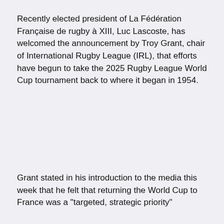Recently elected president of La Fédération Française de rugby à XIII, Luc Lascoste, has welcomed the announcement by Troy Grant, chair of International Rugby League (IRL), that efforts have begun to take the 2025 Rugby League World Cup tournament back to where it began in 1954.
Grant stated in his introduction to the media this week that he felt that returning the World Cup to France was a "targeted, strategic priority"